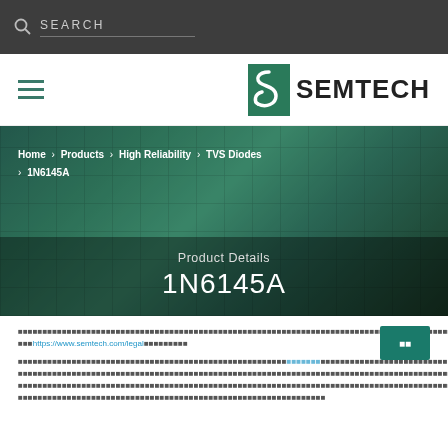SEARCH
[Figure (logo): Semtech logo with stylized S icon and SEMTECH wordmark]
Home > Products > High Reliability > TVS Diodes > 1N6145A
Product Details
1N6145A
Cookie notice text with link to https://www.semtech.com/legal
Product description text for 1N6145A